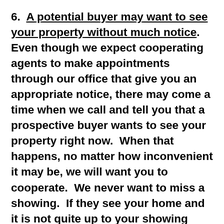6.  A potential buyer may want to see your property without much notice.  Even though we expect cooperating agents to make appointments through our office that give you an appropriate notice, there may come a time when we call and tell you that a prospective buyer wants to see your property right now.  When that happens, no matter how inconvenient it may be, we will want you to cooperate.  We never want to miss a showing.  If they see your home and it is not quite up to your showing standards they still may buy it.  If you deny the showing...